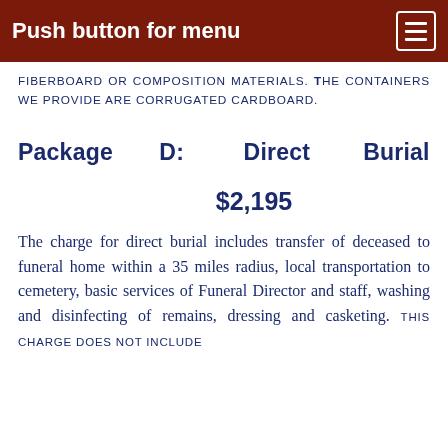Push button for menu
FIBERBOARD OR COMPOSITION MATERIALS. THE CONTAINERS WE PROVIDE ARE CORRUGATED CARDBOARD.
Package D: Direct Burial
$2,195
The charge for direct burial includes transfer of deceased to funeral home within a 35 miles radius, local transportation to cemetery, basic services of Funeral Director and staff, washing and disinfecting of remains, dressing and casketing. THIS CHARGE DOES NOT INCLUDE